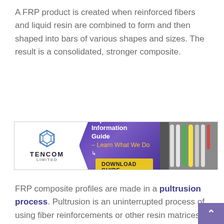A FRP product is created when reinforced fibers and liquid resin are combined to form and then shaped into bars of various shapes and sizes. The result is a consolidated, stronger composite.
[Figure (infographic): Tencom Limited advertisement banner: 'Capabilities & Information Guide – Learn What We Do' with a yellow 'DOWNLOAD GUIDE' button, company logo on white left panel, purple middle section, and photo of FRP rods on right.]
FRP composite profiles are made in a pultrusion process. Pultrusion is an uninterrupted process of using fiber reinforcements or other resin matrices to produce cross-sectional materials.
A combination of two terms, pultrusion is a method of manufacturing involving 'pull' and